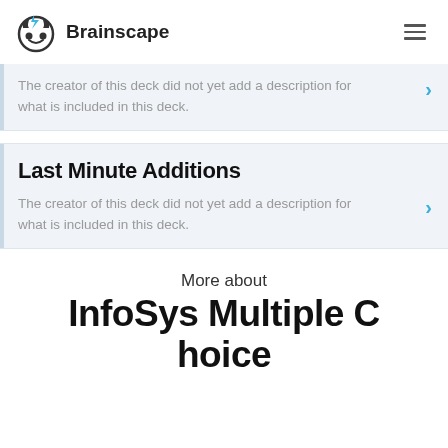Brainscape
The creator of this deck did not yet add a description for what is included in this deck.
Last Minute Additions
The creator of this deck did not yet add a description for what is included in this deck.
More about
InfoSys Multiple Choice